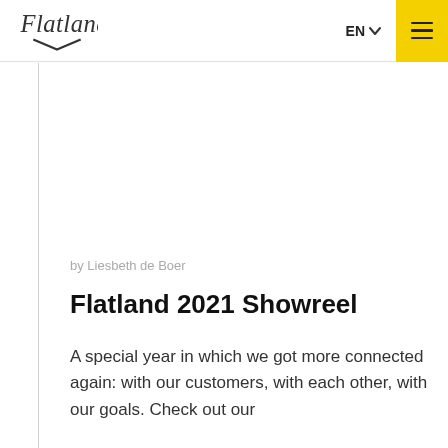Flatland — EN — navigation menu
by Liesbeth de Boer
Flatland 2021 Showreel
A special year in which we got more connected again: with our customers, with each other, with our goals. Check out our showreel...